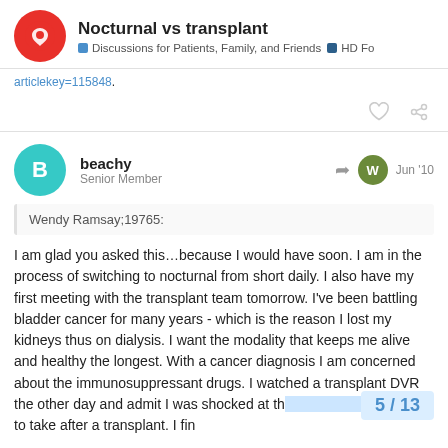Nocturnal vs transplant | Discussions for Patients, Family, and Friends | HD Fo
articlekey=115848.
beachy
Senior Member
Jun '10
Wendy Ramsay;19765:
I am glad you asked this…because I would have soon. I am in the process of switching to nocturnal from short daily. I also have my first meeting with the transplant team tomorrow. I've been battling bladder cancer for many years - which is the reason I lost my kidneys thus on dialysis. I want the modality that keeps me alive and healthy the longest. With a cancer diagnosis I am concerned about the immunosuppressant drugs. I watched a transplant DVR the other day and admit I was shocked at th you need to take after a transplant. I fin
5 / 13